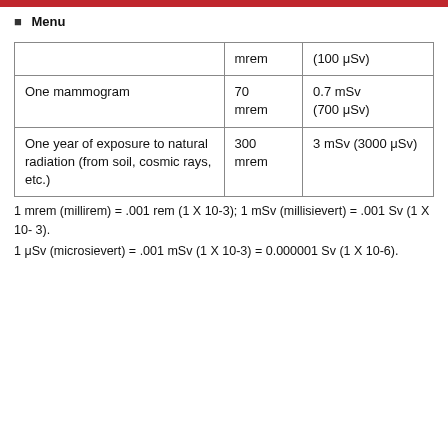☰  Menu
|  | mrem | (100 μSv) |
| --- | --- | --- |
| One mammogram | 70 mrem | 0.7 mSv (700 μSv) |
| One year of exposure to natural radiation (from soil, cosmic rays, etc.) | 300 mrem | 3 mSv (3000 μSv) |
1 mrem (millirem) = .001 rem (1 X 10-3); 1 mSv (millisievert) = .001 Sv (1 X 10- 3).
1 μSv (microsievert) = .001 mSv (1 X 10-3) = 0.000001 Sv (1 X 10-6).